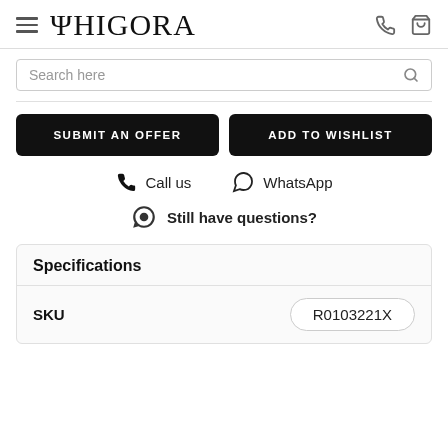PHIGORA
Search here
SUBMIT AN OFFER
ADD TO WISHLIST
Call us
WhatsApp
Still have questions?
Specifications
| SKU |  |
| --- | --- |
| SKU | R0103221X |